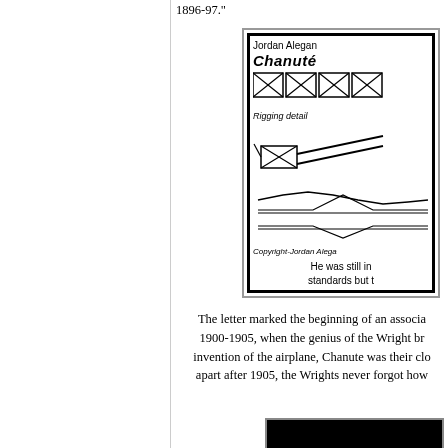1896-97."
[Figure (illustration): A partially visible illustrated card or insert showing engineering drawings of the Chanute glider. Includes: byline 'Jordan Alegan', bold italic title 'Chanute', a rigging detail showing X-braced rectangular panels, a side-view silhouette of the glider, airfoil profile curves, a copyright notice 'Copyright-Jordan Alega', and partial caption text 'He was still in standards but t']
The letter marked the beginning of an associa 1900-1905, when the genius of the Wright br invention of the airplane, Chanute was their clo apart after 1905, the Wrights never forgot how